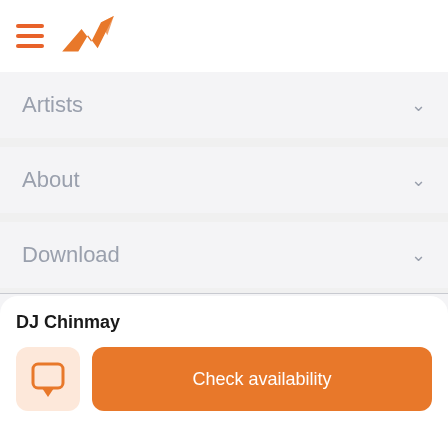Soul Artists header with hamburger menu and orange bird logo
Artists
About
Download
[Figure (logo): Soul Artists logo with grey bird and SOULARTISTS text]
© 2022 Soul Artists. All rights reserved.
DJ Chinmay
Check availability